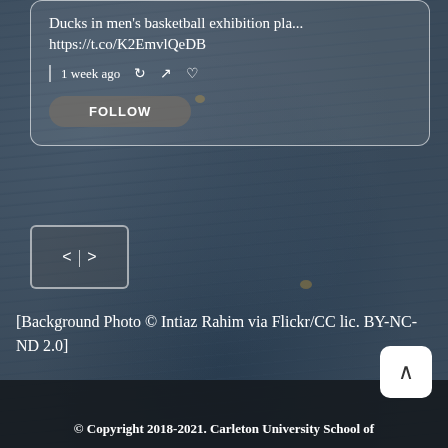Ducks in men's basketball exhibition pla... https://t.co/K2EmvlQeDB
1 week ago
FOLLOW
[Figure (screenshot): Navigation arrows control element with left and right angle bracket arrows separated by a vertical bar, rendered in a rounded rectangle box]
[Background Photo © Intiaz Rahim via Flickr/CC lic. BY-NC-ND 2.0]
© Copyright 2018-2021. Carleton University School of